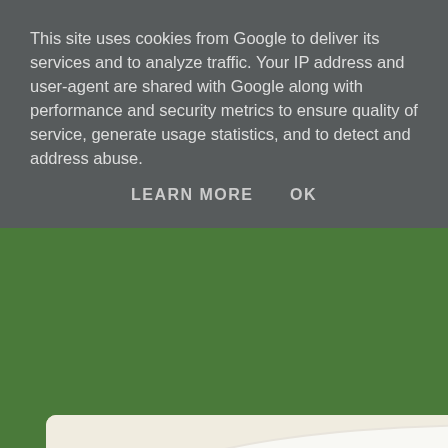[Figure (screenshot): Cropped blog page showing a food photo (white cheese, olives, bread on a plate) in a beige rounded card, followed by decorative colored lines (blue, red, yellow, green) across the page, and a post metadata row with date and labels.]
This site uses cookies from Google to deliver its services and to analyze traffic. Your IP address and user-agent are shared with Google along with performance and security metrics to ensure quality of service, generate usage statistics, and to detect and address abuse.
LEARN MORE    OK
And wha... parmes...
at Sunday, January 22, 2012    Labels: Chinese Dish, English D...
Japanese Dish, Thai Dish, Travel